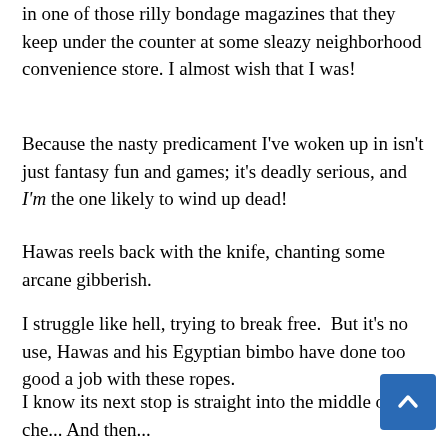in one of those rilly bondage magazines that they keep under the counter at some sleazy neighborhood convenience store. I almost wish that I was!
Because the nasty predicament I've woken up in isn't just fantasy fun and games; it's deadly serious, and I'm the one likely to wind up dead!
Hawas reels back with the knife, chanting some arcane gibberish.
I struggle like hell, trying to break free.  But it's no use, Hawas and his Egyptian bimbo have done too good a job with these ropes.
The blade of the ancient dagger glints silver in the light of the crescent moon.
I know its next stop is straight into the middle of my che... And then...
Then it...